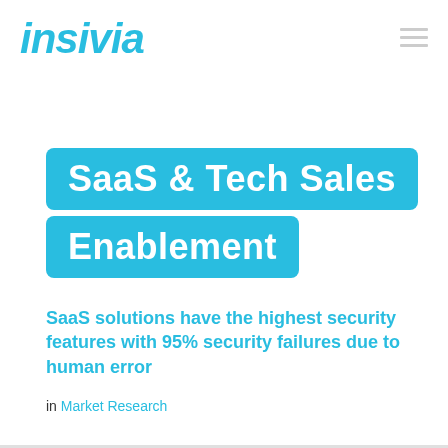insivia
SaaS & Tech Sales Enablement
SaaS solutions have the highest security features with 95% security failures due to human error
in Market Research